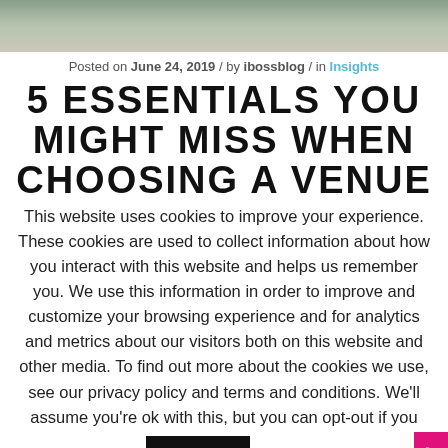[Figure (photo): Partial photo visible at top of page showing blurred objects on a surface]
Posted on June 24, 2019 / by ibossblog / in Insights
5 ESSENTIALS YOU MIGHT MISS WHEN CHOOSING A VENUE
This website uses cookies to improve your experience. These cookies are used to collect information about how you interact with this website and helps us remember you. We use this information in order to improve and customize your browsing experience and for analytics and metrics about our visitors both on this website and other media. To find out more about the cookies we use, see our privacy policy and terms and conditions. We'll assume you're ok with this, but you can opt-out if you wish.
Accept  Read More